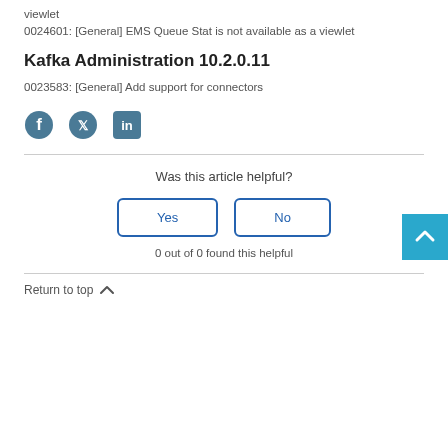viewlet
0024601: [General] EMS Queue Stat is not available as a viewlet
Kafka Administration 10.2.0.11
0023583: [General] Add support for connectors
[Figure (illustration): Social share icons: Facebook, Twitter, LinkedIn]
Was this article helpful?
Yes / No buttons
0 out of 0 found this helpful
Return to top